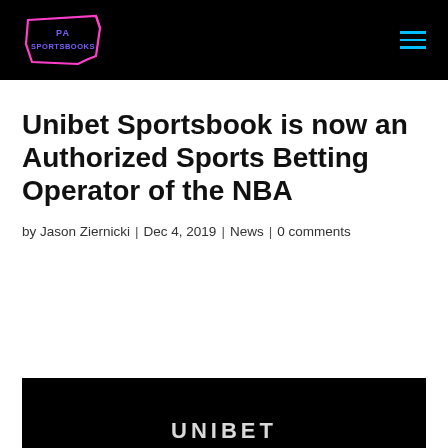[Figure (logo): PA Sportsbooks logo in neon pink outline of Pennsylvania state shape with text 'PA SPORTSBOOKS' inside, on black background header bar]
Unibet Sportsbook is now an Authorized Sports Betting Operator of the NBA
by Jason Ziernicki | Dec 4, 2019 | News | 0 comments
[Figure (photo): Unibet logo/branding image on black background, partially visible at bottom of page]